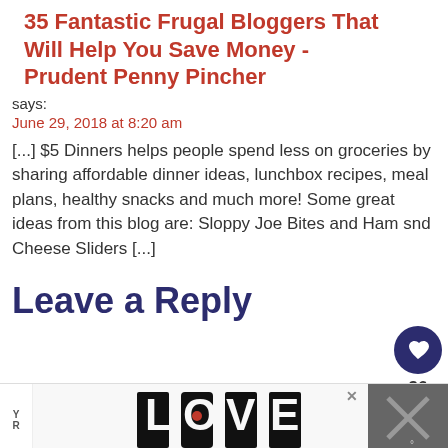35 Fantastic Frugal Bloggers That Will Help You Save Money - Prudent Penny Pincher
says:
June 29, 2018 at 8:20 am
[...] $5 Dinners helps people spend less on groceries by sharing affordable dinner ideas, lunchbox recipes, meal plans, healthy snacks and much more! Some great ideas from this blog are: Sloppy Joe Bites and Ham snd Cheese Sliders [...]
Leave a Reply
[Figure (other): LOVE decorative illustration text art at bottom of page]
[Figure (other): What's Next panel showing Ham & Cheese Sliders thumbnail with label 'WHAT'S NEXT' and text 'Ham & Cheese Sliders with...']